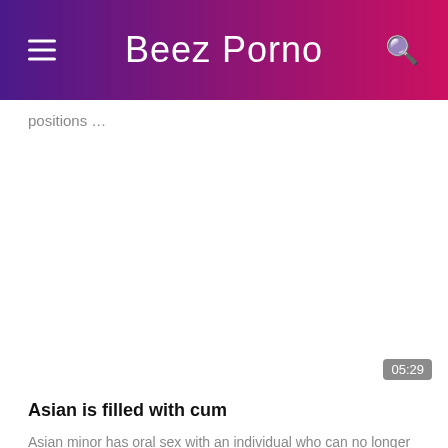Beez Porno
positions …
[Figure (screenshot): Video thumbnail placeholder, white/blank area with duration badge showing 05:29]
Asian is filled with cum
Asian minor has oral sex with an individual who can no longer resist and fills …